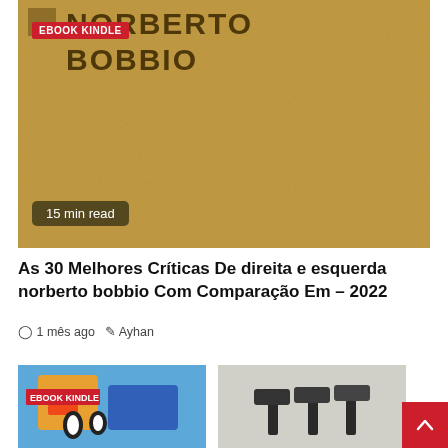[Figure (illustration): Book cover thumbnail for 'De direita e esquerda' by Norberto Bobbio on sandy/tan textured background with large dark text, an EBOOK KINDLE badge in top-left corner, and a '15 min read' badge in the bottom-left corner.]
As 30 Melhores Críticas De direita e esquerda norberto bobbio Com Comparação Em – 2022
1 mês ago  Ayhan
[Figure (illustration): Small thumbnail image on left showing colorful cartoon/ebook cover with EBOOK KINDLE badge.]
[Figure (illustration): Small thumbnail image on right showing dark hammers/tools on grey background.]